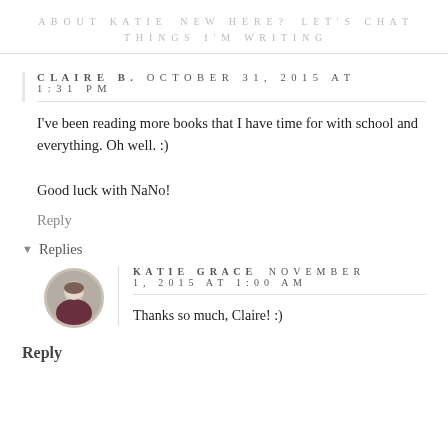ABOUT KATIE   NEW HERE?   LET'S CHAT   THINGS I'M WRITING
CLAIRE B.  OCTOBER 31, 2015 AT 1:31 PM
I've been reading more books that I have time for with school and everything. Oh well. :)

Good luck with NaNo!
Reply
▾ Replies
[Figure (photo): Circular avatar photo of Katie Grace, a young woman with light skin and dark hair, wearing a dark maroon top]
KATIE GRACE  NOVEMBER 1, 2015 AT 1:00 AM
Thanks so much, Claire! :)
Reply